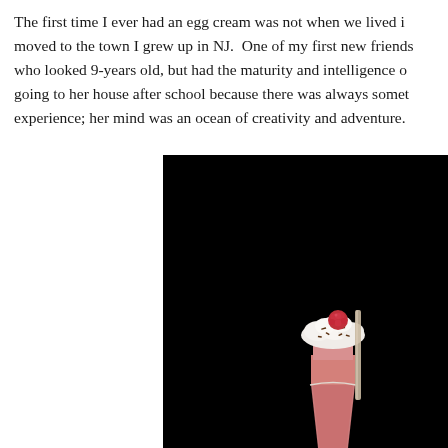The first time I ever had an egg cream was not when we lived in moved to the town I grew up in NJ. One of my first new friends who looked 9-years old, but had the maturity and intelligence of going to her house after school because there was always somet experience; her mind was an ocean of creativity and adventure.
[Figure (photo): A milkshake or smoothie drink in a tall glass with whipped cream on top, garnished with a raspberry, against a black background. The drink appears to be pink/strawberry colored.]